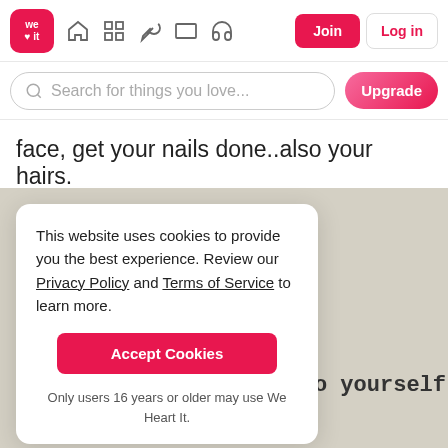[Figure (screenshot): We Heart It website navigation bar with logo, home, grid, feather, rectangle, and headphone icons, plus Join and Log in buttons]
[Figure (screenshot): Search bar with placeholder 'Search for things you love...' and pink Upgrade button]
face, get your nails done..also your hairs.
[Figure (screenshot): Cookie consent modal over beige parchment background with typewriter text 'd to yourself']
This website uses cookies to provide you the best experience. Review our Privacy Policy and Terms of Service to learn more.
Accept Cookies
Only users 16 years or older may use We Heart It.